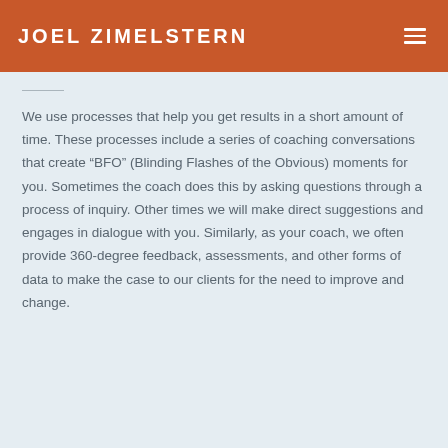JOEL ZIMELSTERN
We use processes that help you get results in a short amount of time. These processes include a series of coaching conversations that create “BFO” (Blinding Flashes of the Obvious) moments for you. Sometimes the coach does this by asking questions through a process of inquiry. Other times we will make direct suggestions and engages in dialogue with you. Similarly, as your coach, we often provide 360-degree feedback, assessments, and other forms of data to make the case to our clients for the need to improve and change.